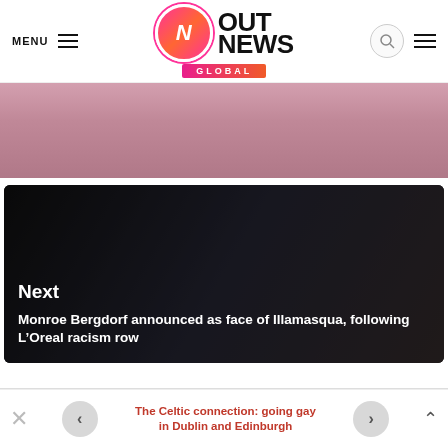MENU | OUT NEWS GLOBAL
[Figure (photo): Partial photo of a person in pink clothing — upper portion of image visible as strip]
[Figure (photo): Dark-toned image of a person with braided hair. Overlay text: 'Next' and 'Monroe Bergdorf announced as face of Illamasqua, following L'Oreal racism row']
LEAVE A REPLY
The Celtic connection: going gay in Dublin and Edinburgh